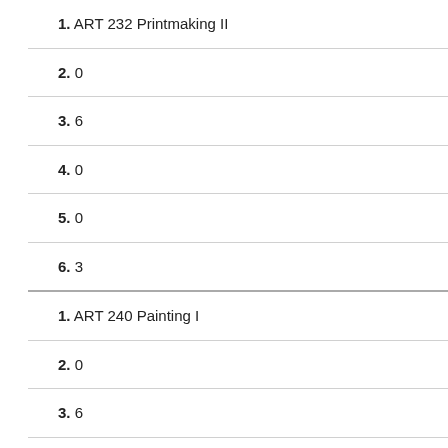1. ART 232 Printmaking II
2. 0
3. 6
4. 0
5. 0
6. 3
1. ART 240 Painting I
2. 0
3. 6